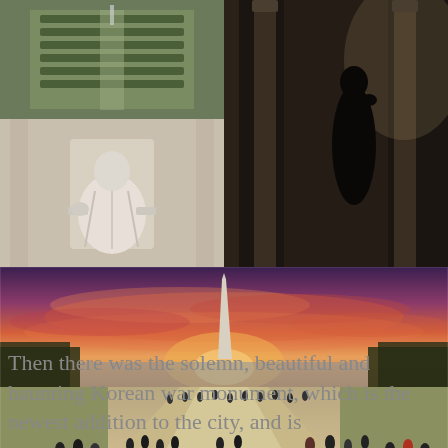[Figure (photo): Top-left photo: aerial or overhead view of a memorial or landmark with symmetrical garden hedges, Washington D.C.]
[Figure (photo): Middle-left photo: Lincoln Memorial statue, white marble seated figure of Abraham Lincoln inside the memorial.]
[Figure (photo): Right photo (tall): Dark silhouette of a person standing inside a columned building, likely Lincoln Memorial interior.]
[Figure (photo): Wide bottom photo: National Mall at sunset with dramatic pink/orange sky, Washington Monument in center, people walking on plaza, trees lining the sides.]
Then there was the solemn, beautiful and haunting Korean war monument, which is the newest addition to the city, and is